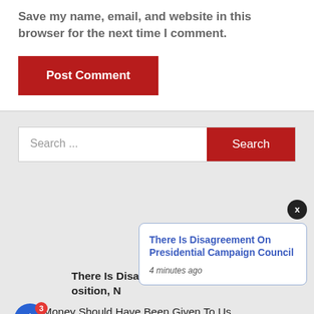Save my name, email, and website in this browser for the next time I comment.
Post Comment
Search ...
Search
[Figure (screenshot): Notification popup showing: There Is Disagreement On Presidential Campaign Council — 4 minutes ago]
There Is Disagreement On Presidential Campaign Council
4 minutes ago
There Is Disagre... osition, N
That Money Should Have Been Given To Us